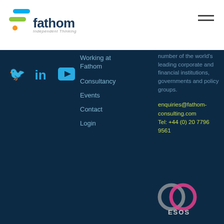[Figure (logo): Fathom Independent Thinking logo with coloured geometric icon and hamburger menu icon on white header bar]
[Figure (logo): Social media icons: Twitter bird, LinkedIn 'in', YouTube play button in light blue on dark navy background]
Working at Fathom
Consultancy
Events
Contact
Login
number of the world's leading corporate and financial institutions, governments and policy groups.
enquiries@fathom-consulting.com
Tel: +44 (0) 20 7796 9561
[Figure (logo): ESOS certification logo — two overlapping circles in grey and pink with 'ESOS' text below]